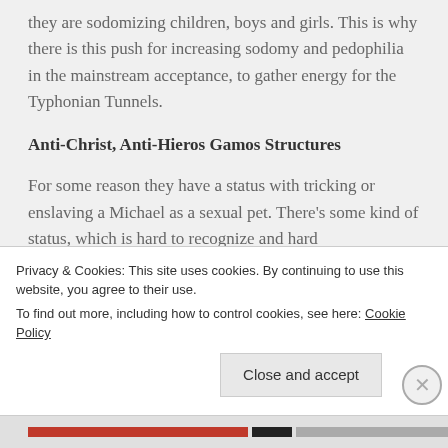they are sodomizing children, boys and girls. This is why there is this push for increasing sodomy and pedophilia in the mainstream acceptance, to gather energy for the Typhonian Tunnels.
Anti-Christ, Anti-Hieros Gamos Structures
For some reason they have a status with tricking or enslaving a Michael as a sexual pet. There's some kind of status, which is hard to recognize and hard to understand. But this is also consider that the...
Privacy & Cookies: This site uses cookies. By continuing to use this website, you agree to their use.
To find out more, including how to control cookies, see here: Cookie Policy
Close and accept